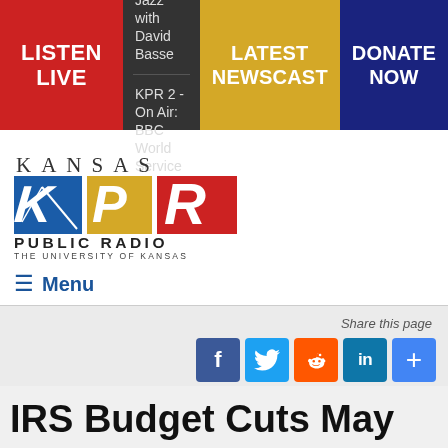LISTEN LIVE | KPR - On Air: Jazz with David Basse | KPR 2 - On Air: BBC World Service | LATEST NEWSCAST | DONATE NOW
[Figure (logo): Kansas Public Radio KPR logo - The University of Kansas]
≡ Menu
Share this page
[Figure (other): Social share icons: Facebook, Twitter, Reddit, LinkedIn, More]
IRS Budget Cuts May Make For An